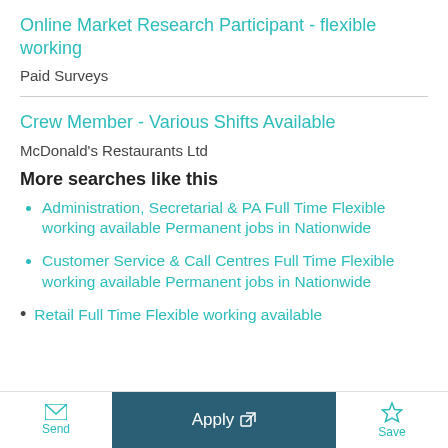Online Market Research Participant - flexible working
Paid Surveys
Crew Member - Various Shifts Available
McDonald's Restaurants Ltd
More searches like this
Administration, Secretarial & PA Full Time Flexible working available Permanent jobs in Nationwide
Customer Service & Call Centres Full Time Flexible working available Permanent jobs in Nationwide
Retail Full Time Flexible working available
Send  Apply  Save